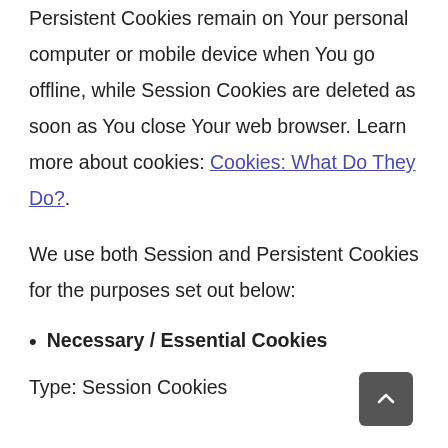Persistent Cookies remain on Your personal computer or mobile device when You go offline, while Session Cookies are deleted as soon as You close Your web browser. Learn more about cookies: Cookies: What Do They Do?.
We use both Session and Persistent Cookies for the purposes set out below:
Necessary / Essential Cookies
Type: Session Cookies
Administered by Us